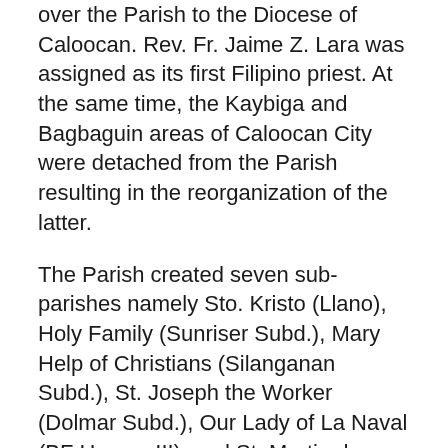over the Parish to the Diocese of Caloocan. Rev. Fr. Jaime Z. Lara was assigned as its first Filipino priest. At the same time, the Kaybiga and Bagbaguin areas of Caloocan City were detached from the Parish resulting in the reorganization of the latter.
The Parish created seven sub-parishes namely Sto. Kristo (Llano), Holy Family (Sunriser Subd.), Mary Help of Christians (Silanganan Subd.), St. Joseph the Worker (Dolmar Subd.), Our Lady of La Naval (BF Homes III), and St. Martin de Pores (Cefels Subd.). The geographical composition of Christ the King is very different from other parishes in the Diocese of Novaliches. The Parish is comprised of four Barangays, namely 169 (BF Homes), 170 (Cefels Subd), 168 (Deparo), and 167 (Llano). Each subdivision within the barangay erected its own chapel.